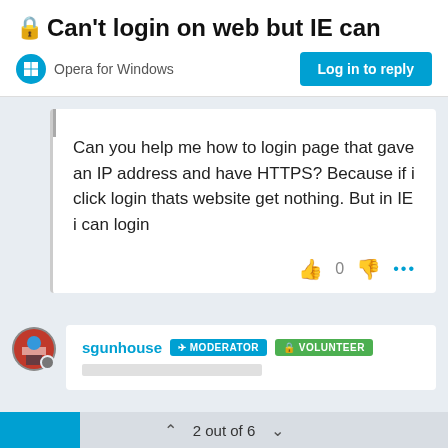🔒 Can't login on web but IE can
Opera for Windows
Log in to reply
Can you help me how to login page that gave an IP address and have HTTPS? Because if i click login thats website get nothing. But in IE i can login
sgunhouse   MODERATOR   VOLUNTEER
2 out of 6